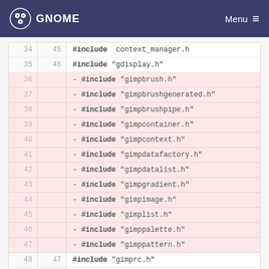GNOME  Menu
| old | new | code |
| --- | --- | --- |
| 34 | 45 | #include  context_manager.h |
| 35 | 46 | #include "gdisplay.h" |
| 36 |  | - #include "gimpbrush.h" |
| 37 |  | - #include "gimpbrushgenerated.h" |
| 38 |  | - #include "gimpbrushpipe.h" |
| 39 |  | - #include "gimpcontainer.h" |
| 40 |  | - #include "gimpcontext.h" |
| 41 |  | - #include "gimpdatafactory.h" |
| 42 |  | - #include "gimpdatalist.h" |
| 43 |  | - #include "gimpgradient.h" |
| 44 |  | - #include "gimpimage.h" |
| 45 |  | - #include "gimplist.h" |
| 46 |  | - #include "gimppalette.h" |
| 47 |  | - #include "gimppattern.h" |
| 48 | 47 | #include "gimprc.h" |
| 49 | 48 |  |
| 50 | 49 |  |
| ... | ... |  |
app/core/.cvsignore  0 → 100644